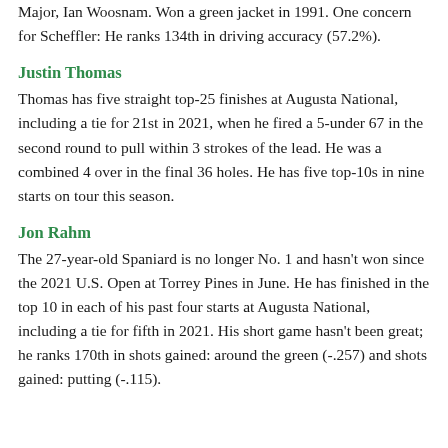Major, Ian Woosnam. Won a green jacket in 1991. One concern for Scheffler: He ranks 134th in driving accuracy (57.2%).
Justin Thomas
Thomas has five straight top-25 finishes at Augusta National, including a tie for 21st in 2021, when he fired a 5-under 67 in the second round to pull within 3 strokes of the lead. He was a combined 4 over in the final 36 holes. He has five top-10s in nine starts on tour this season.
Jon Rahm
The 27-year-old Spaniard is no longer No. 1 and hasn't won since the 2021 U.S. Open at Torrey Pines in June. He has finished in the top 10 in each of his past four starts at Augusta National, including a tie for fifth in 2021. His short game hasn't been great; he ranks 170th in shots gained: around the green (-.257) and shots gained: putting (-.115).